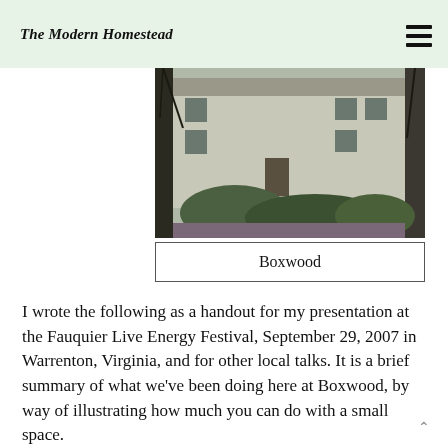The Modern Homestead
[Figure (photo): Photo of a house with trees and shrubs in the foreground, taken in late autumn or early spring with bare branches visible.]
Boxwood
I wrote the following as a handout for my presentation at the Fauquier Live Energy Festival, September 29, 2007 in Warrenton, Virginia, and for other local talks. It is a brief summary of what we've been doing here at Boxwood, by way of illustrating how much you can do with a small space.
~Harvey